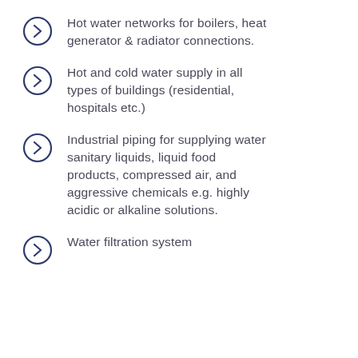Hot water networks for boilers, heat generator & radiator connections.
Hot and cold water supply in all types of buildings (residential, hospitals etc.)
Industrial piping for supplying water sanitary liquids, liquid food products, compressed air, and aggressive chemicals e.g. highly acidic or alkaline solutions.
Water filtration system